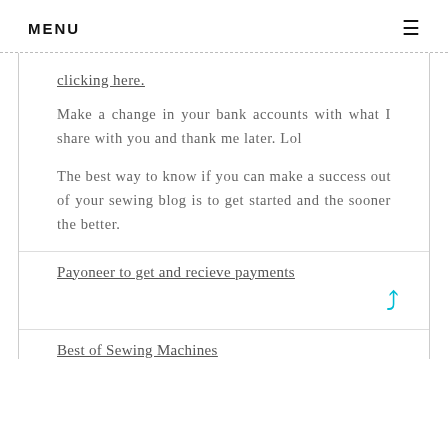MENU
clicking here.
Make a change in your bank accounts with what I share with you and thank me later. Lol
The best way to know if you can make a success out of your sewing blog is to get started and the sooner the better.
Payoneer to get and recieve payments
Best of Sewing Machines